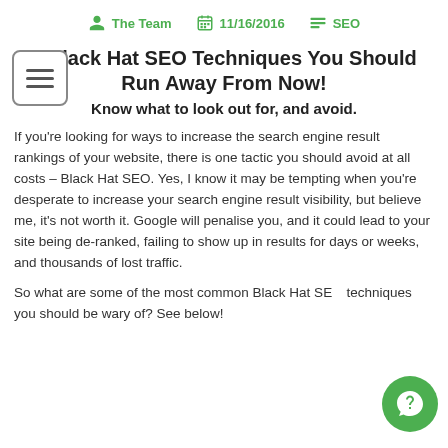The Team  11/16/2016  SEO
8 Black Hat SEO Techniques You Should Run Away From Now!
Know what to look out for, and avoid.
If you're looking for ways to increase the search engine result rankings of your website, there is one tactic you should avoid at all costs – Black Hat SEO. Yes, I know it may be tempting when you're desperate to increase your search engine result visibility, but believe me, it's not worth it. Google will penalise you, and it could lead to your site being de-ranked, failing to show up in results for days or weeks, and thousands of lost traffic.
So what are some of the most common Black Hat SEO techniques you should be wary of? See below!